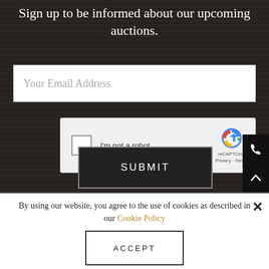Sign up to be informed about our upcoming auctions.
[Figure (screenshot): Email address input field with white background and placeholder text 'Your Email Address']
[Figure (screenshot): reCAPTCHA widget with checkbox labeled 'I'm not a robot' and reCAPTCHA logo with Privacy and Terms links]
[Figure (screenshot): SUBMIT button with dark background and white text, bordered with lighter outline]
By using our website, you agree to the use of cookies as described in our Cookie Policy
[Figure (screenshot): ACCEPT button with white background and black border]